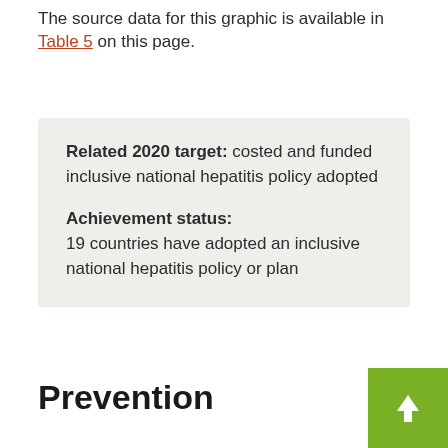The source data for this graphic is available in Table 5 on this page.
Related 2020 target: costed and funded inclusive national hepatitis policy adopted
Achievement status:
19 countries have adopted an inclusive national hepatitis policy or plan
Prevention